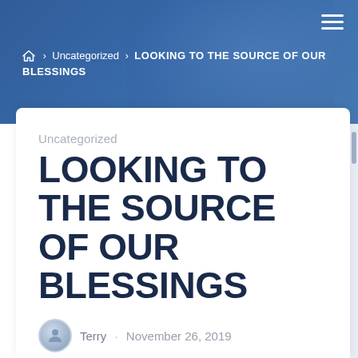[Figure (photo): Blue-toned hero banner with blurred books in background and hamburger menu icon in top-right corner]
🏠 › Uncategorized › LOOKING TO THE SOURCE OF OUR BLESSINGS
Uncategorized
LOOKING TO THE SOURCE OF OUR BLESSINGS
Terry · November 26, 2019
Looking to the Source of Our Blessings